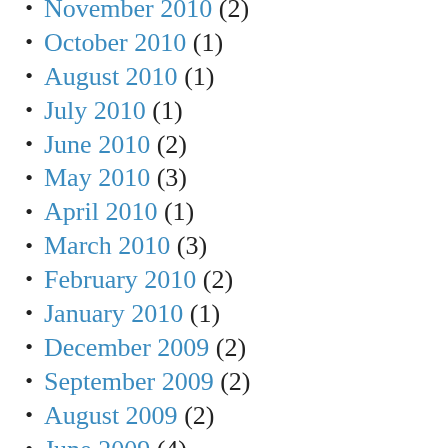November 2010 (2)
October 2010 (1)
August 2010 (1)
July 2010 (1)
June 2010 (2)
May 2010 (3)
April 2010 (1)
March 2010 (3)
February 2010 (2)
January 2010 (1)
December 2009 (2)
September 2009 (2)
August 2009 (2)
June 2009 (4)
April 2009 (5)
March 2009 (2)
February 2009 (2)